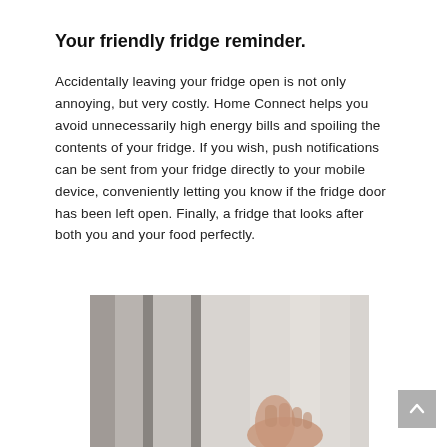Your friendly fridge reminder.
Accidentally leaving your fridge open is not only annoying, but very costly. Home Connect helps you avoid unnecessarily high energy bills and spoiling the contents of your fridge. If you wish, push notifications can be sent from your fridge directly to your mobile device, conveniently letting you know if the fridge door has been left open. Finally, a fridge that looks after both you and your food perfectly.
[Figure (photo): A hand touching a stainless steel refrigerator door, showing multiple vertical panels of the appliance.]